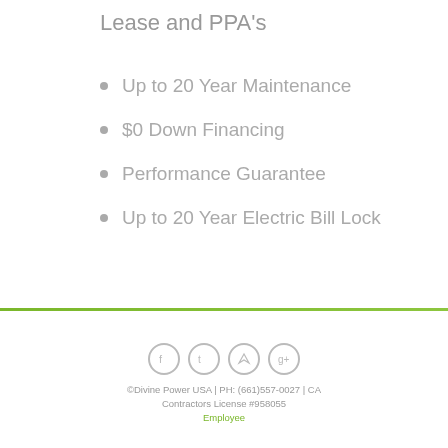Lease and PPA's
Up to 20 Year Maintenance
$0 Down Financing
Performance Guarantee
Up to 20 Year Electric Bill Lock
©Divine Power USA | PH: (661)557-0027 | CA Contractors License #958055
Employee